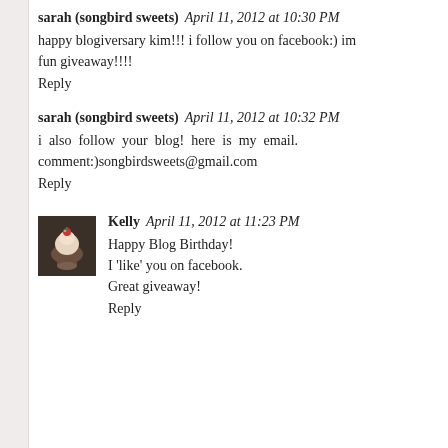sarah (songbird sweets)   April 11, 2012 at 10:30 PM
happy blogiversary kim!!! i follow you on facebook:) im fun giveaway!!!!
Reply
sarah (songbird sweets)   April 11, 2012 at 10:32 PM
i also follow your blog! here is my email. comment:)songbirdsweets@gmail.com
Reply
[Figure (photo): Small avatar image of a cupcake or dessert]
Kelly   April 11, 2012 at 11:23 PM
Happy Blog Birthday!
I 'like' you on facebook.
Great giveaway!
Reply